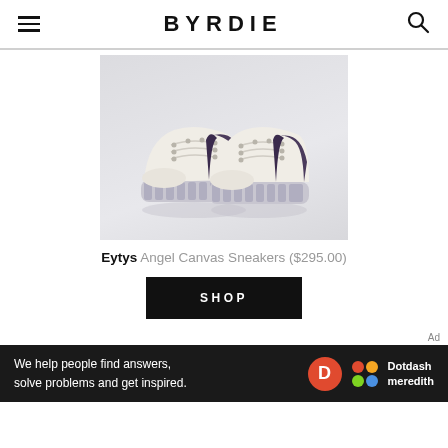BYRDIE
[Figure (photo): A pair of cream/off-white chunky canvas sneakers with purple heel accent and thick ridged sole, photographed against a light grey background. Eytys Angel Canvas Sneakers.]
Eytys Angel Canvas Sneakers ($295.00)
SHOP
Ad
We help people find answers, solve problems and get inspired. Dotdash meredith